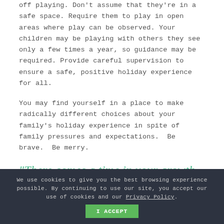off playing. Don't assume that they're in a safe space. Require them to play in open areas where play can be observed. Your children may be playing with others they see only a few times a year, so guidance may be required. Provide careful supervision to ensure a safe, positive holiday experience for all.
You may find yourself in a place to make radically different choices about your family's holiday experience in spite of family pressures and expectations.  Be brave.  Be merry.
“There comes a time in your growth when you start making choices from a very different place.  And if a choice lines up so that it supports truth, health
We use cookies to give you the best browsing experience possible. By continuing to use our site, you accept our use of cookies and our Privacy Policy.